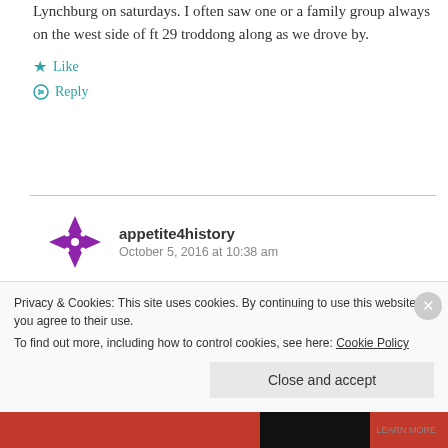Lynchburg on saturdays. I often saw one or a family group always on the west side of ft 29 troddong along as we drove by.
Like
Reply
appetite4history
October 5, 2016 at 10:38 am
Thanks! I was researching William Macon
Privacy & Cookies: This site uses cookies. By continuing to use this website, you agree to their use.
To find out more, including how to control cookies, see here: Cookie Policy
Close and accept